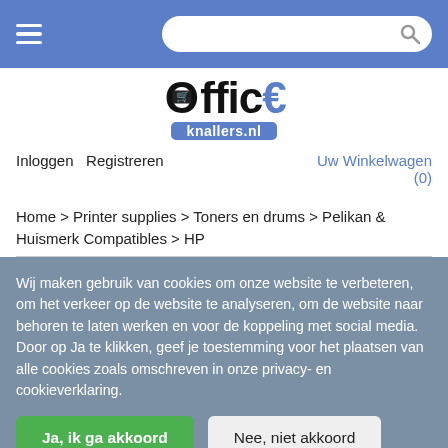Navigation bar with hamburger menu and search box
[Figure (logo): OfficeKnallers.nl logo with shopping cart icon in the O, euro sign, and knallers.nl badge]
Inloggen  Registreren  Uw Winkelwagen (0)
Home > Printer supplies > Toners en drums > Pelikan & Huismerk Compatibles > HP
Wij maken gebruik van cookies om onze website te verbeteren, om het verkeer op de website te analyseren, om de website naar behoren te laten werken en voor de koppeling met social media. Door op Ja te klikken, geef je toestemming voor het plaatsen van alle cookies zoals omschreven in onze privacy- en cookieverklaring.
Ja, ik ga akkoord  Nee, niet akkoord